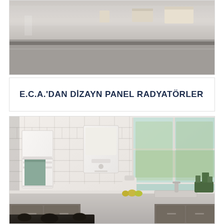[Figure (photo): Bathroom interior with a mirror and shelf, showing towels or items on a floating shelf, minimal modern design in grey/beige tones]
E.C.A.'DAN DİZAYN PANEL RADYATÖRLER
[Figure (photo): Modern kitchen interior with white brick tile walls, a design panel towel radiator on the left wall, a wall-mounted boiler/combi unit in the center, large windows on the right showing outdoor greenery, kitchen counter with sink, blender, fruits, and plants; dark island/cooktop in the foreground]